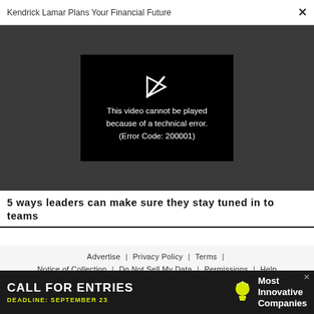Kendrick Lamar Plans Your Financial Future  ×
[Figure (screenshot): Video player showing error: 'This video cannot be played because of a technical error. (Error Code: 200001)' with a broken play icon on black background, surrounded by dark gray area.]
5 ways leaders can make sure they stay tuned in to teams
Advertise | Privacy Policy | Terms | Notice of Collection | Do Not Sell My Data | Permissions | Help
[Figure (infographic): Advertisement banner: 'CALL FOR ENTRIES DEADLINE: SEPTEMBER 23' with a light bulb icon and text 'Most Innovative Companies' on dark background.]